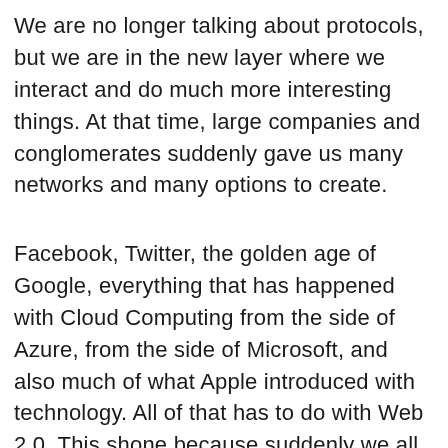We are no longer talking about protocols, but we are in the new layer where we interact and do much more interesting things. At that time, large companies and conglomerates suddenly gave us many networks and many options to create.
Facebook, Twitter, the golden age of Google, everything that has happened with Cloud Computing from the side of Azure, from the side of Microsoft, and also much of what Apple introduced with technology. All of that has to do with Web 2.0. This shone because suddenly we all had a device in our pockets and being